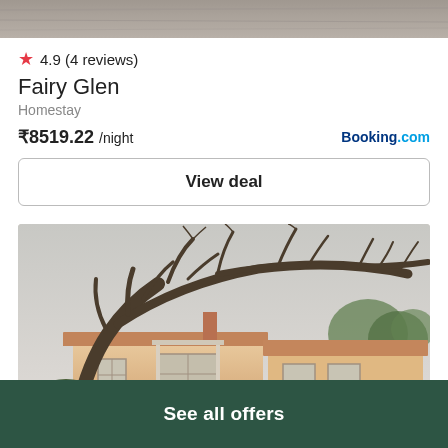[Figure (photo): Top strip of a property listing image, partially cropped]
★ 4.9 (4 reviews)
Fairy Glen
Homestay
₹8519.22 /night   Booking.com
View deal
[Figure (photo): Exterior photo of Fairy Glen homestay showing a cream/peach-colored house with a tiled roof and large bare tree branches overhead]
See all offers